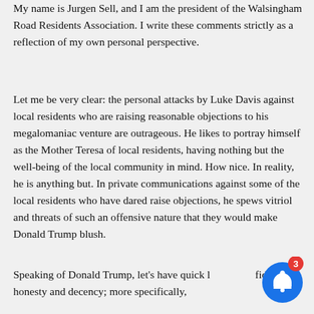My name is Jurgen Sell, and I am the president of the Walsingham Road Residents Association. I write these comments strictly as a reflection of my own personal perspective.
Let me be very clear: the personal attacks by Luke Davis against local residents who are raising reasonable objections to his megalomaniac venture are outrageous. He likes to portray himself as the Mother Teresa of local residents, having nothing but the well-being of the local community in mind. How nice. In reality, he is anything but. In private communications against some of the local residents who have dared raise objections, he spews vitriol and threats of such an offensive nature that they would make Donald Trump blush.
Speaking of Donald Trump, let's have quick look at his fidelity to honesty and decency; more specifically,